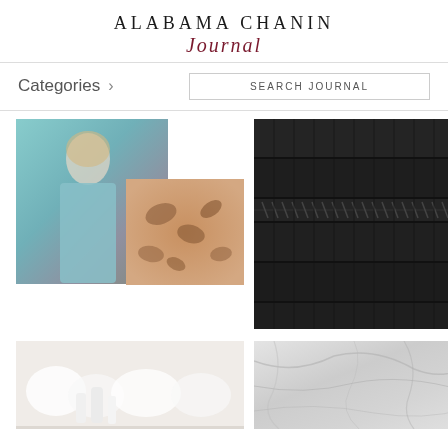ALABAMA CHANIN Journal
Categories >
SEARCH JOURNAL
[Figure (photo): Woman wearing teal floral top, overlapping with small square photo of brown floral fabric pattern on light background]
[Figure (photo): Close-up of black pleated fabric with decorative hand-stitching detail in rows]
[Figure (photo): White shelving with white vases and fluffy white objects]
[Figure (photo): Gray marble texture surface]